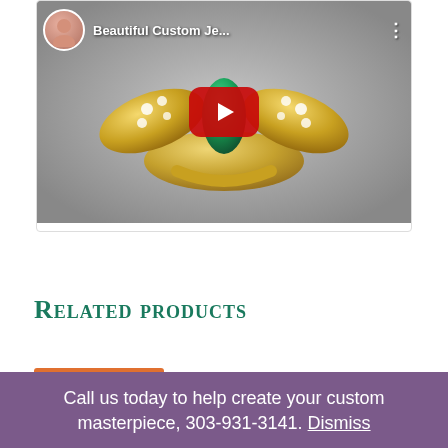[Figure (screenshot): YouTube video thumbnail showing a custom emerald and diamond butterfly ring in gold. The video title reads 'Beautiful Custom Je...' with a circular avatar of a woman in the top left, three-dot menu top right, and a red YouTube play button centered over the jewelry image.]
Related products
Call us today to help create your custom masterpiece, 303-931-3141. Dismiss